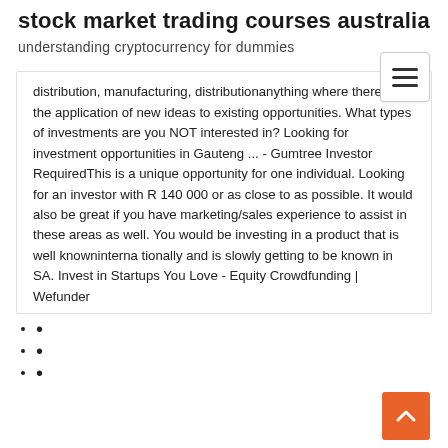stock market trading courses australia
understanding cryptocurrency for dummies
distribution, manufacturing, distributionanything where there is the application of new ideas to existing opportunities. What types of investments are you NOT interested in? Looking for investment opportunities in Gauteng ... - Gumtree Investor RequiredThis is a unique opportunity for one individual. Looking for an investor with R 140 000 or as close to as possible. It would also be great if you have marketing/sales experience to assist in these areas as well. You would be investing in a product that is well knowninterna tionally and is slowly getting to be known in SA. Invest in Startups You Love - Equity Crowdfunding | Wefunder